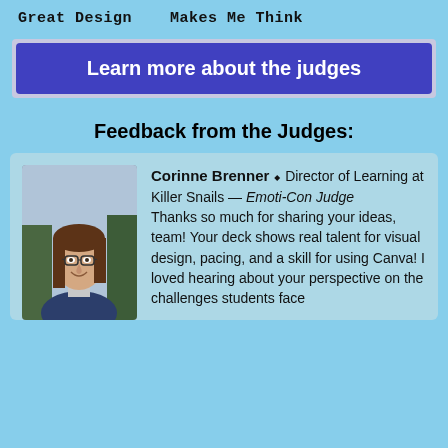Great Design   Makes Me Think
Learn more about the judges
Feedback from the Judges:
[Figure (photo): Headshot of Corinne Brenner, a woman with long brown hair and glasses, smiling, wearing a dark blazer, outdoors with trees in background]
Corinne Brenner ⬥ Director of Learning at Killer Snails — Emoti-Con Judge Thanks so much for sharing your ideas, team! Your deck shows real talent for visual design, pacing, and a skill for using Canva! I loved hearing about your perspective on the challenges students face